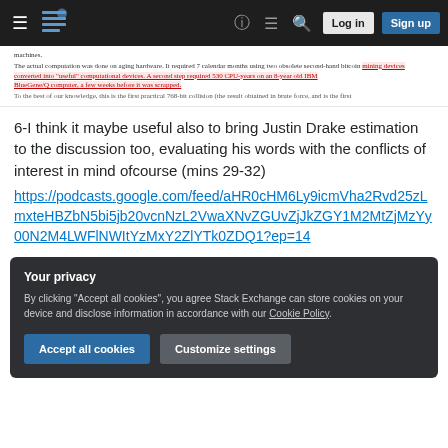Stack Exchange navigation bar with hamburger menu, logo, help, search, Log in, Sign up
[Figure (screenshot): Snippet of document text with highlighted/redlined passage about computation on aging hardware, bitcoin mining devices, IBM BlueGene/Q computer]
6-I think it maybe useful also to bring Justin Drake estimation to the discussion too, evaluating his words with the conflicts of interest in mind ofcourse (mins 29-32)
https://podcasts.google.com/feed/aHR0cHM6Ly9icmVha2Rvd25zLmxteHBZnN5bi5jb20vcnNzL2VwaXNvZGUvZjJkZGY1M2MtZjMzYy00N2M4LWFlNWItYzMxY2ZlYTk0ZDQ1?ep=14
Your privacy
By clicking "Accept all cookies", you agree Stack Exchange can store cookies on your device and disclose information in accordance with our Cookie Policy.
Accept all cookies
Customize settings